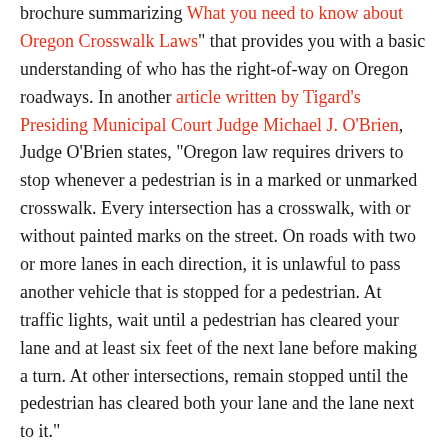brochure summarizing "What you need to know about Oregon Crosswalk Laws" that provides you with a basic understanding of who has the right-of-way on Oregon roadways. In another article written by Tigard's Presiding Municipal Court Judge Michael J. O'Brien, Judge O'Brien states, "Oregon law requires drivers to stop whenever a pedestrian is in a marked or unmarked crosswalk. Every intersection has a crosswalk, with or without painted marks on the street. On roads with two or more lanes in each direction, it is unlawful to pass another vehicle that is stopped for a pedestrian. At traffic lights, wait until a pedestrian has cleared your lane and at least six feet of the next lane before making a turn. At other intersections, remain stopped until the pedestrian has cleared both your lane and the lane next to it."